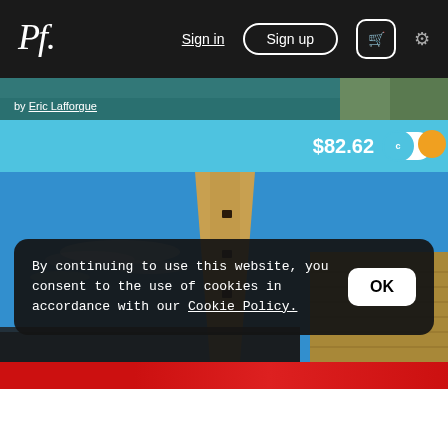Pf. Sign in Sign up [cart] [settings]
[Figure (photo): Partial view of photo by Eric Lafforgue — colorful scene with teal and green tones]
by Eric Lafforgue
$82.62
[Figure (photo): Tall stone/concrete tower monument against bright blue sky with wispy white clouds; stone walls visible at right]
By continuing to use this website, you consent to the use of cookies in accordance with our Cookie Policy.
OK